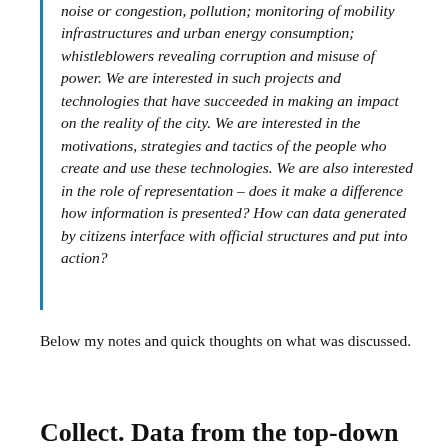noise or congestion, pollution; monitoring of mobility infrastructures and urban energy consumption; whistleblowers revealing corruption and misuse of power. We are interested in such projects and technologies that have succeeded in making an impact on the reality of the city. We are interested in the motivations, strategies and tactics of the people who create and use these technologies. We are also interested in the role of representation – does it make a difference how information is presented? How can data generated by citizens interface with official structures and put into action?
Below my notes and quick thoughts on what was discussed.
Collect. Data from the top-down